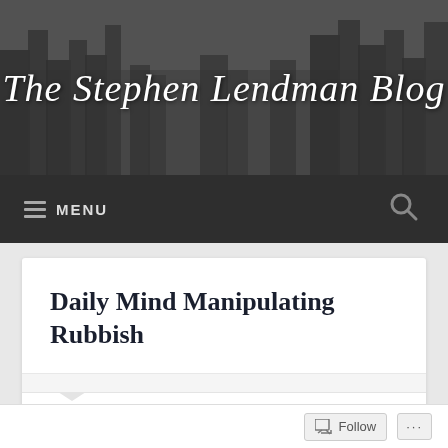The Stephen Lendman Blog
[Figure (screenshot): Blog navigation bar with hamburger menu icon and MENU text on left, search icon on right, dark background]
Daily Mind Manipulating Rubbish
With Russian forces overwhelming Ukrainian Nazified thugs and conscripts, MSM notably find it hard to increasingly hard to pretend otherwise